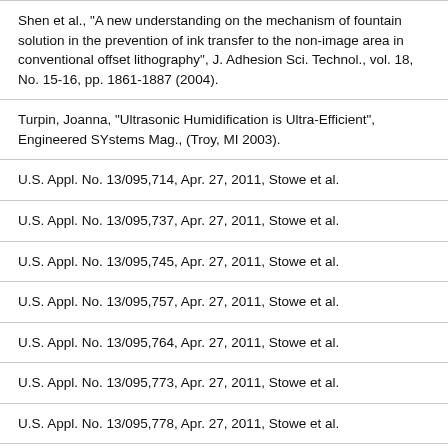Shen et al., "A new understanding on the mechanism of fountain solution in the prevention of ink transfer to the non-image area in conventional offset lithography", J. Adhesion Sci. Technol., vol. 18, No. 15-16, pp. 1861-1887 (2004).
Turpin, Joanna, "Ultrasonic Humidification is Ultra-Efficient", Engineered SYstems Mag., (Troy, MI 2003).
U.S. Appl. No. 13/095,714, Apr. 27, 2011, Stowe et al.
U.S. Appl. No. 13/095,737, Apr. 27, 2011, Stowe et al.
U.S. Appl. No. 13/095,745, Apr. 27, 2011, Stowe et al.
U.S. Appl. No. 13/095,757, Apr. 27, 2011, Stowe et al.
U.S. Appl. No. 13/095,764, Apr. 27, 2011, Stowe et al.
U.S. Appl. No. 13/095,773, Apr. 27, 2011, Stowe et al.
U.S. Appl. No. 13/095,778, Apr. 27, 2011, Stowe et al.
U.S. Appl. No. 13/204,515, Aug. 5, 2011, Stowe et al.
U.S. Appl. No. 13/204,526, Aug. 5, 2011, Stowe et al.